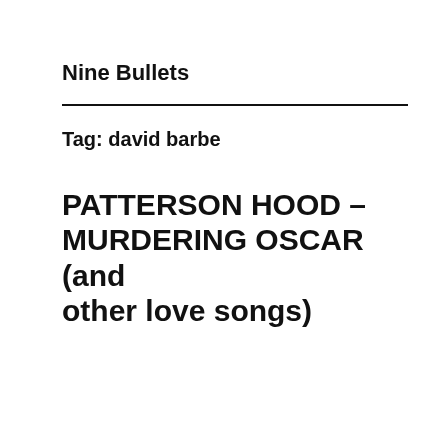Nine Bullets
Tag: david barbe
PATTERSON HOOD – MURDERING OSCAR (and other love songs)